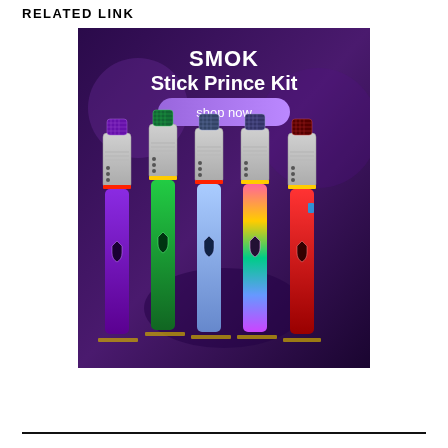RELATED LINK
[Figure (photo): Advertisement for SMOK Stick Prince Kit showing five vape pens in different colors (purple, green, blue/silver, rainbow, red) against a purple gradient background. Text reads 'SMOK Stick Prince Kit' with a 'shop now' button in purple/lavender.]